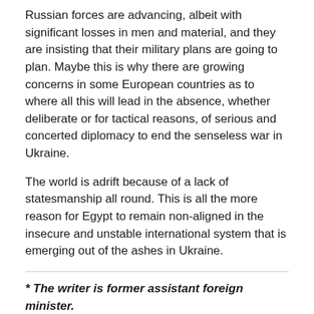Russian forces are advancing, albeit with significant losses in men and material, and they are insisting that their military plans are going to plan. Maybe this is why there are growing concerns in some European countries as to where all this will lead in the absence, whether deliberate or for tactical reasons, of serious and concerted diplomacy to end the senseless war in Ukraine.
The world is adrift because of a lack of statesmanship all round. This is all the more reason for Egypt to remain non-aligned in the insecure and unstable international system that is emerging out of the ashes in Ukraine.
* The writer is former assistant foreign minister.
*A version of this article appears in print in the 12 May, 2022 edition of Al-Ahram Weekly.
Search Keywords:
[Figure (other): Three grey tag/keyword buttons partially visible at the bottom of the page]